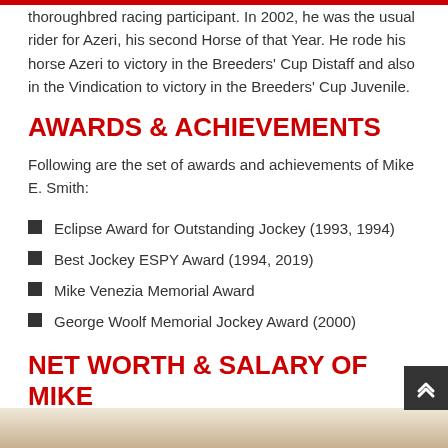thoroughbred racing participant. In 2002, he was the usual rider for Azeri, his second Horse of that Year. He rode his horse Azeri to victory in the Breeders' Cup Distaff and also in the Vindication to victory in the Breeders' Cup Juvenile.
AWARDS & ACHIEVEMENTS
Following are the set of awards and achievements of Mike E. Smith:
Eclipse Award for Outstanding Jockey (1993, 1994)
Best Jockey ESPY Award (1994, 2019)
Mike Venezia Memorial Award
George Woolf Memorial Jockey Award (2000)
NET WORTH & SALARY OF MIKE E. SMITH IN 2022
[Figure (photo): Partial bottom image showing a person, likely Mike E. Smith in racing attire]